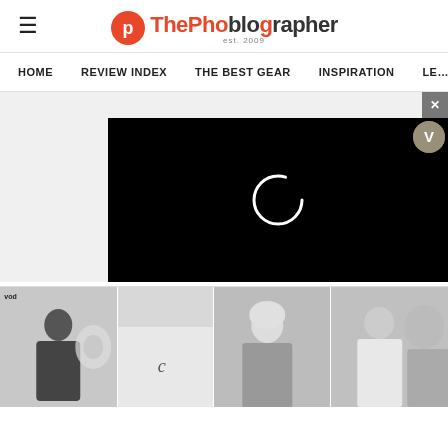ThePhoblographer
[Figure (logo): ThePhoblographer logo with orange P icon and text]
HOME  REVIEW INDEX  THE BEST GEAR  INSPIRATION  LE...
[Figure (screenshot): Video player with loading spinner on gray ad background with X close button and V badge]
[Figure (photo): Black and white photo strip showing people, split into four segments]